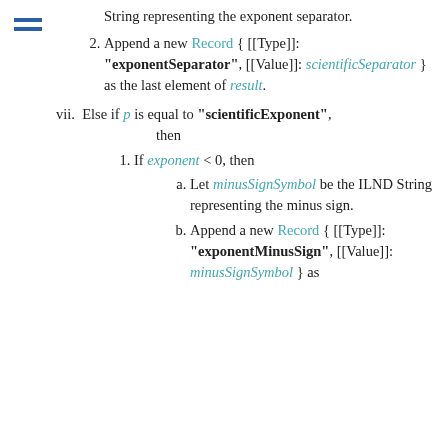[Figure (other): Hamburger menu icon with two horizontal blue lines]
String representing the exponent separator.
Append a new Record { [[Type]]: "exponentSeparator", [[Value]]: scientificSeparator } as the last element of result.
Else if p is equal to "scientificExponent", then
If exponent < 0, then
Let minusSignSymbol be the ILND String representing the minus sign.
Append a new Record { [[Type]]: "exponentMinusSign", [[Value]]: minusSignSymbol } as